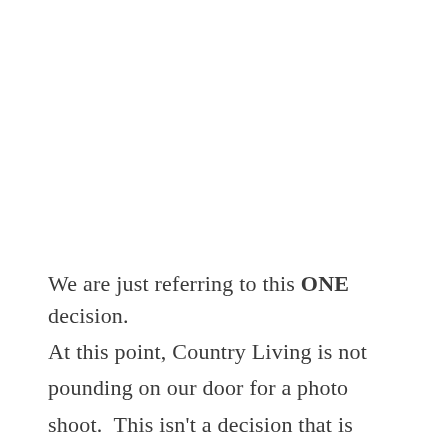We are just referring to this ONE decision.
At this point, Country Living is not pounding on our door for a photo shoot.  This isn't a decision that is keeping us up at night.  We are sleeping just